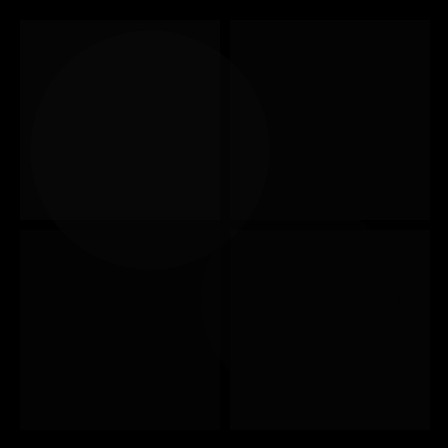[Figure (photo): A predominantly black image, possibly a very dark photograph or scan with minimal visible detail. The image appears almost entirely black with slight variations in tone suggesting a very underexposed or dark photographic image.]